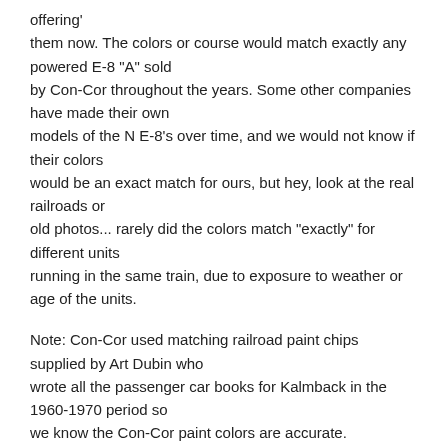offering' them now. The colors or course would match exactly any powered E-8 "A" sold by Con-Cor throughout the years. Some other companies have made their own models of the N E-8's over time, and we would not know if their colors would be an exact match for ours, but hey, look at the real railroads or old photos... rarely did the colors match "exactly" for different units running in the same train, due to exposure to weather or age of the units.
Note: Con-Cor used matching railroad paint chips supplied by Art Dubin who wrote all the passenger car books for Kalmback in the 1960-1970 period so we know the Con-Cor paint colors are accurate.
Retail value on on-Powered "B" units $34.98 Sale price $29.97